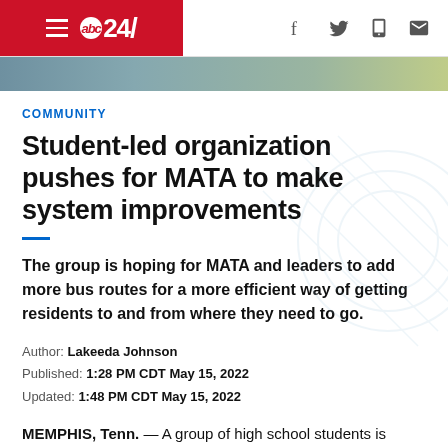abc24 — navigation and social icons header
[Figure (photo): Partial photo strip showing background image at top of article]
COMMUNITY
Student-led organization pushes for MATA to make system improvements
The group is hoping for MATA and leaders to add more bus routes for a more efficient way of getting residents to and from where they need to go.
Author: Lakeeda Johnson
Published: 1:28 PM CDT May 15, 2022
Updated: 1:48 PM CDT May 15, 2022
MEMPHIS, Tenn. — A group of high school students is looking for ways to make public transportation better,